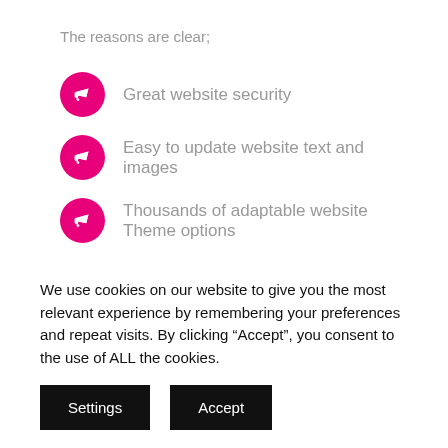The reasons are clear;
Great website security
Easy to update website text and images
Thousands of adaptable website Theme options
Quick website build
Clients matter
We pride ourselves on listening to our clients to deliver the best possible customer satisfaction.
We use cookies on our website to give you the most relevant experience by remembering your preferences and repeat visits. By clicking “Accept”, you consent to the use of ALL the cookies.